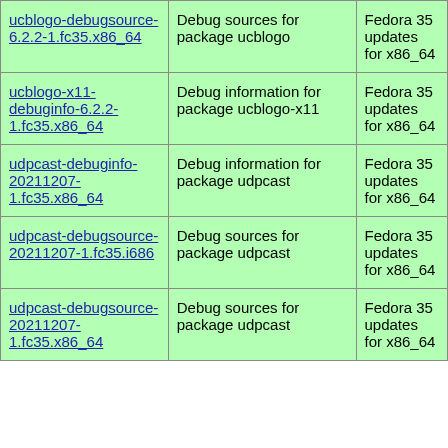| Package | Description | Repository |
| --- | --- | --- |
| ucblogo-debugsource-6.2.2-1.fc35.x86_64 | Debug sources for package ucblogo | Fedora 35 updates for x86_64 |
| ucblogo-x11-debuginfo-6.2.2-1.fc35.x86_64 | Debug information for package ucblogo-x11 | Fedora 35 updates for x86_64 |
| udpcast-debuginfo-20211207-1.fc35.x86_64 | Debug information for package udpcast | Fedora 35 updates for x86_64 |
| udpcast-debugsource-20211207-1.fc35.i686 | Debug sources for package udpcast | Fedora 35 updates for x86_64 |
| udpcast-debugsource-20211207-1.fc35.x86_64 | Debug sources for package udpcast | Fedora 35 updates for x86_64 |